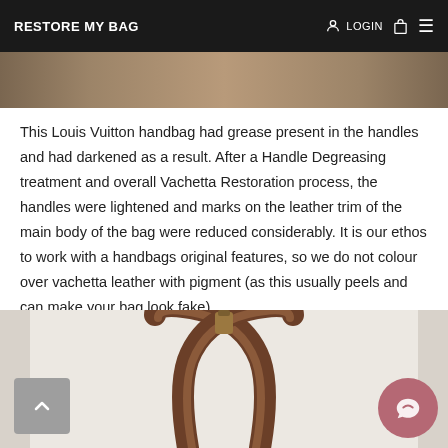RESTORE MY BAG | LOGIN
[Figure (photo): Partial view of a Louis Vuitton handbag top strip]
This Louis Vuitton handbag had grease present in the handles and had darkened as a result. After a Handle Degreasing treatment and overall Vachetta Restoration process, the handles were lightened and marks on the leather trim of the main body of the bag were reduced considerably. It is our ethos to work with a handbags original features, so we do not colour over vachetta leather with pigment (as this usually peels and can make your bag look fake).
[Figure (photo): Photo of Louis Vuitton handbag handles showing brown leather handles against a light background]